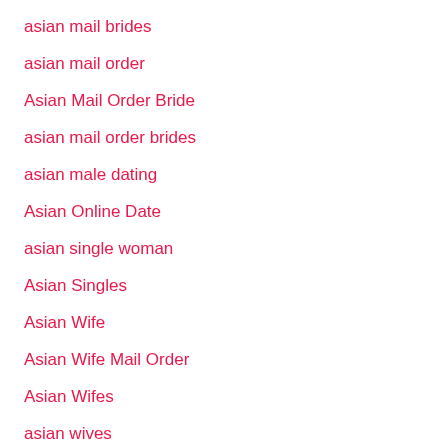asian mail brides
asian mail order
Asian Mail Order Bride
asian mail order brides
asian male dating
Asian Online Date
asian single woman
Asian Singles
Asian Wife
Asian Wife Mail Order
Asian Wifes
asian wives
asian woman profile
asian woman date site